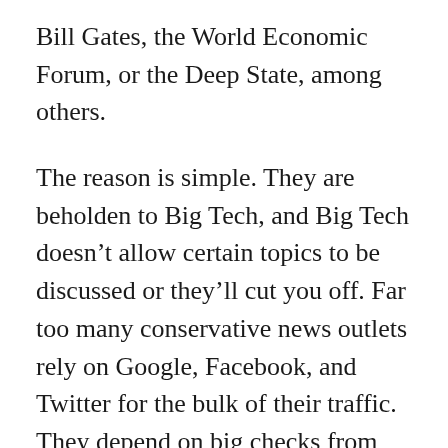Bill Gates, the World Economic Forum, or the Deep State, among others.
The reason is simple. They are beholden to Big Tech, and Big Tech doesn’t allow certain topics to be discussed or they’ll cut you off. Far too many conservative news outlets rely on Google, Facebook, and Twitter for the bulk of their traffic. They depend on big checks from Google ads to keep the sites running. I don’t necessarily hold it against them. We all do what we need to do to survive. I just wish more would do like we have,